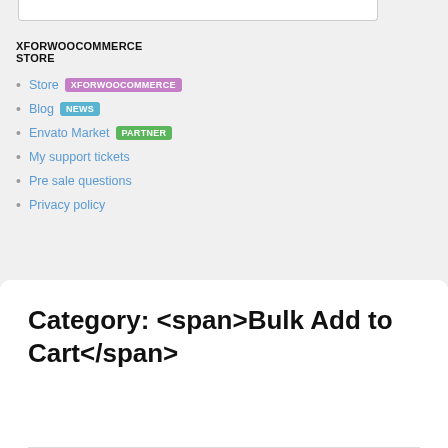XFORWOOCOMMERCE STORE
Store XFORWOOCOMMERCE
Blog NEWS
Envato Market PARTNER
My support tickets
Pre sale questions
Privacy policy
Category: <span>Bulk Add to Cart</span>